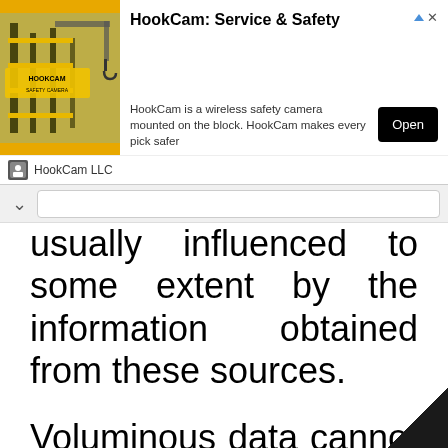[Figure (screenshot): Advertisement banner for HookCam: Service & Safety. Shows a yellow crane/construction image on the left, bold title 'HookCam: Service & Safety', description text 'HookCam is a wireless safety camera mounted on the block. HookCam makes every pick safer', an 'Open' button, and 'HookCam LLC' company name at the bottom with a small icon.]
usually influenced to some extent by the information obtained from these sources.
Voluminous data cannot be adequately analyzed using the traditional data management techniques and warehousing. This explains why institutions are increasingly embracing big data platform. A big data platform is a to